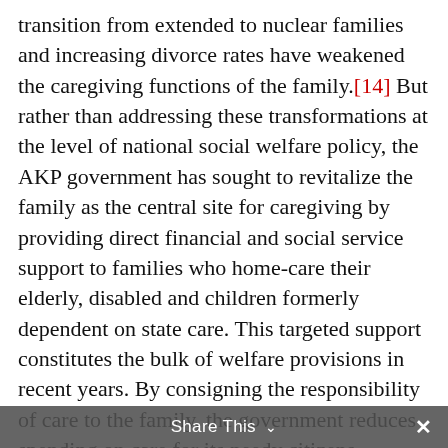transition from extended to nuclear families and increasing divorce rates have weakened the caregiving functions of the family.[14] But rather than addressing these transformations at the level of national social welfare policy, the AKP government has sought to revitalize the family as the central site for caregiving by providing direct financial and social service support to families who home-care their elderly, disabled and children formerly dependent on state care. This targeted support constitutes the bulk of welfare provisions in recent years. By consigning the responsibility of care to the family, the government reduces spending on care for its needy citizens because institutional care is costlier than these small
Share This ∨  ×